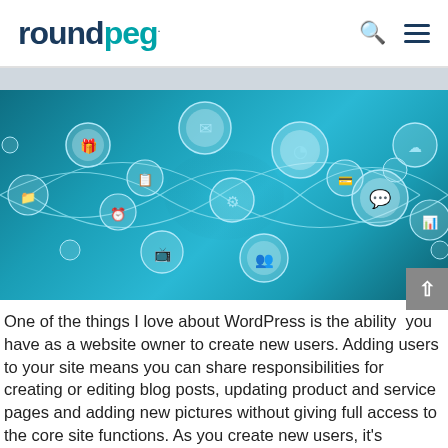roundpeg.
[Figure (illustration): Network connectivity illustration with circular icon nodes connected by flowing lines on a blue teal background. Icons include mail, pie chart, settings gear, people/users, bar chart, speech bubble, cloud, and other web/digital service icons.]
One of the things I love about WordPress is the ability  you have as a website owner to create new users. Adding users to your site means you can share responsibilities for creating or editing blog posts, updating product and service pages and adding new pictures without giving full access to the core site functions. As you create new users, it's important to